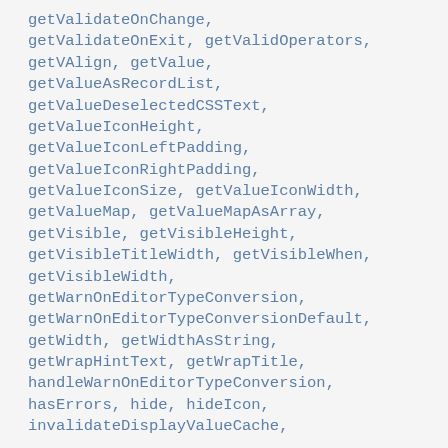getValidateOnChange, getValidateOnExit, getValidOperators, getVAlign, getValue, getValueAsRecordList, getValueDeselectedCSSText, getValueIconHeight, getValueIconLeftPadding, getValueIconRightPadding, getValueIconSize, getValueIconWidth, getValueMap, getValueMapAsArray, getVisible, getVisibleHeight, getVisibleTitleWidth, getVisibleWhen, getVisibleWidth, getWarnOnEditorTypeConversion, getWarnOnEditorTypeConversionDefault, getWidth, getWidthAsString, getWrapHintText, getWrapTitle, handleWarnOnEditorTypeConversion, hasErrors, hide, hideIcon, invalidateDisplayValueCache,